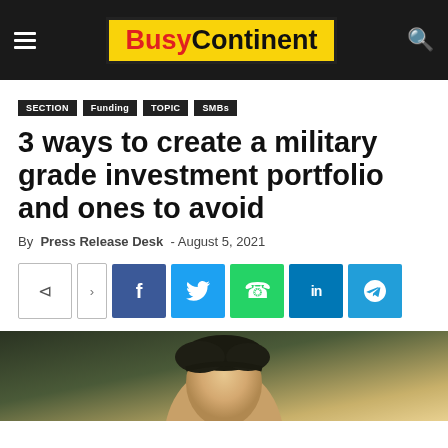BusyContinent
SECTION  Funding  TOPIC  SMBs
3 ways to create a military grade investment portfolio and ones to avoid
By Press Release Desk - August 5, 2021
[Figure (other): Social share buttons row: share icon, arrow, Facebook, Twitter, WhatsApp, LinkedIn, Telegram]
[Figure (photo): Portrait photo of a man with dark hair, partially visible, against a blurred background]